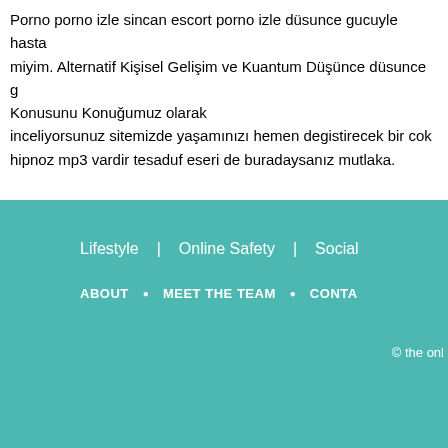Porno porno izle sincan escort porno izle düsunce gucuyle hasta miyim. Alternatif Kişisel Gelişim ve Kuantum Düşünce düsunce g Konusunu Konuğumuz olarak inceliyorsunuz sitemizde yaşamınızı hemen degistirecek bir cok hipnoz mp3 vardir tesaduf eseri de buradaysanız mutlaka.
Lifestyle | Online Safety | Social
ABOUT • MEET THE TEAM • CONTA
© the onl